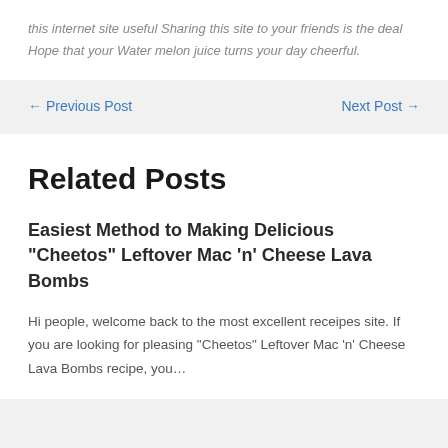this internet site useful Sharing this site to your friends is the deal Hope that your Water melon juice turns your day cheerful.
← Previous Post
Next Post →
Related Posts
Easiest Method to Making Delicious "Cheetos" Leftover Mac 'n' Cheese Lava Bombs
Hi people, welcome back to the most excellent receipes site. If you are looking for pleasing "Cheetos" Leftover Mac 'n' Cheese Lava Bombs recipe, you…